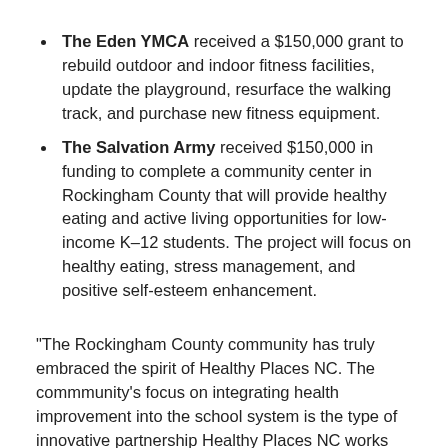The Eden YMCA received a $150,000 grant to rebuild outdoor and indoor fitness facilities, update the playground, resurface the walking track, and purchase new fitness equipment.
The Salvation Army received $150,000 in funding to complete a community center in Rockingham County that will provide healthy eating and active living opportunities for low-income K–12 students. The project will focus on healthy eating, stress management, and positive self-esteem enhancement.
“The Rockingham County community has truly embraced the spirit of Healthy Places NC. The commmunity’s focus on integrating health improvement into the school system is the type of innovative partnership Healthy Places NC works